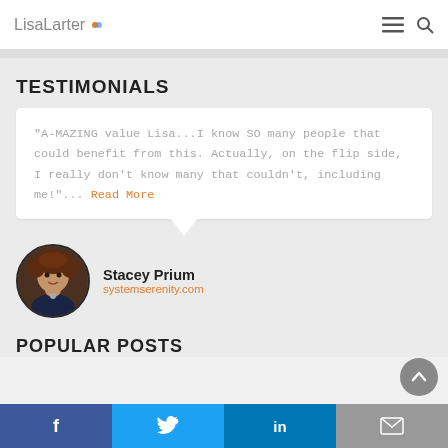LisaLarter
TESTIMONIALS
"A-MAZING value Lisa...I know SO many people that could benefit from this. Actually, on the flip side, I really don't know many that couldn't, including me!"... Read More
Stacey Prium
systemserenity.com
POPULAR POSTS
f  Twitter  in  Email